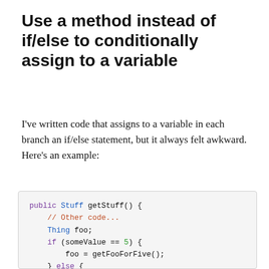Use a method instead of if/else to conditionally assign to a variable
I've written code that assigns to a variable in each branch an if/else statement, but it always felt awkward. Here's an example:
[Figure (screenshot): Code block showing Java method: public Stuff getStuff() { // Other code... Thing foo; if (someValue == 5) { foo = getFooForFive(); } else { foo = getOtherFoo(); } }]